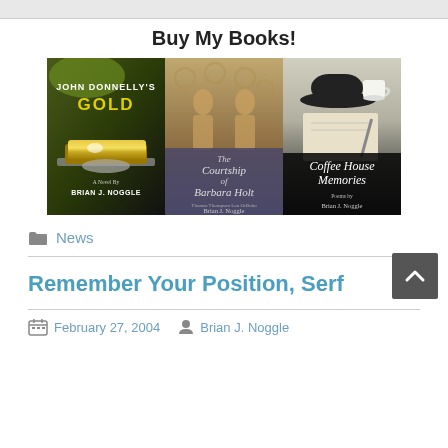Buy My Books!
[Figure (photo): Three book covers by Brian J. Noggle: John Donnelly's Gold, The Courtship of Barbara Holt, and Coffee House Memories]
News
Remember Your Position, Serf
February 27, 2004   Brian J. Noggle